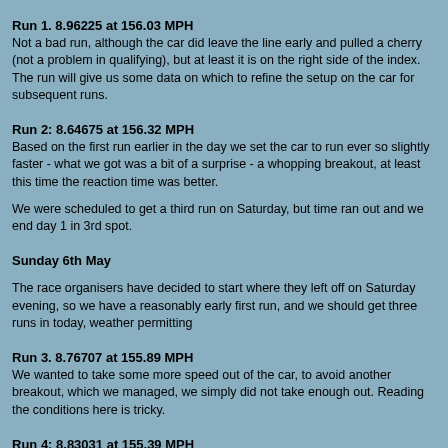Run 1. 8.96225 at 156.03 MPH
Not a bad run, although the car did leave the line early and pulled a cherry (not a problem in qualifying), but at least it is on the right side of the index. The run will give us some data on which to refine the setup on the car for subsequent runs.
Run 2: 8.64675 at 156.32 MPH
Based on the first run earlier in the day we set the car to run ever so slightly faster - what we got was a bit of a surprise - a whopping breakout, at least this time the reaction time was better.
We were scheduled to get a third run on Saturday, but time ran out and we end day 1 in 3rd spot.
Sunday 6th May
The race organisers have decided to start where they left off on Saturday evening, so we have a reasonably early first run, and we should get three runs in today, weather permitting
Run 3. 8.76707 at 155.89 MPH
We wanted to take some more speed out of the car, to avoid another breakout, which we managed, we simply did not take enough out. Reading the conditions here is tricky.
Run 4: 8.83031 at 155.39 MPH
Allowing for the weather conditions we take more power out the car and head down to the startline. Just prior to the run there are a couple of spots of rain, so we are held for a short while prior to running. The run itself was